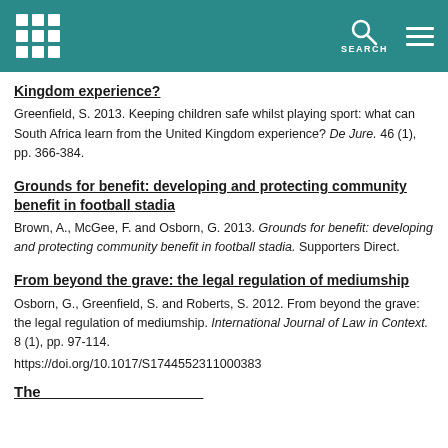SEARCH
Kingdom experience?
Greenfield, S. 2013. Keeping children safe whilst playing sport: what can South Africa learn from the United Kingdom experience? De Jure. 46 (1), pp. 366-384.
Grounds for benefit: developing and protecting community benefit in football stadia
Brown, A., McGee, F. and Osborn, G. 2013. Grounds for benefit: developing and protecting community benefit in football stadia. Supporters Direct.
From beyond the grave: the legal regulation of mediumship
Osborn, G., Greenfield, S. and Roberts, S. 2012. From beyond the grave: the legal regulation of mediumship. International Journal of Law in Context. 8 (1), pp. 97-114.
https://doi.org/10.1017/S1744552311000383
The...